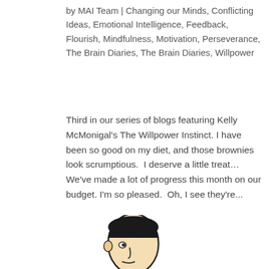by MAI Team | Changing our Minds, Conflicting Ideas, Emotional Intelligence, Feedback, Flourish, Mindfulness, Motivation, Perseverance, The Brain Diaries, The Brain Diaries, Willpower
Third in our series of blogs featuring Kelly McMonigal's The Willpower Instinct. I have been so good on my diet, and those brownies look scrumptious.  I deserve a little treat… We've made a lot of progress this month on our budget. I'm so pleased.  Oh, I see they're...
[Figure (illustration): Partial illustration of a person's head/face in a cartoon style, visible at the bottom center of the page]